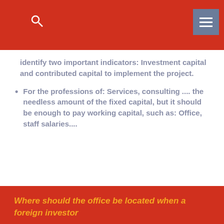identify two important indicators: Investment capital and contributed capital to implement the project.
For the professions of: Services, consulting .... the needless amount of the fixed capital, but it should be enough to pay working capital, such as: Office, staff salaries....
Where should the office be located when a foreign investor